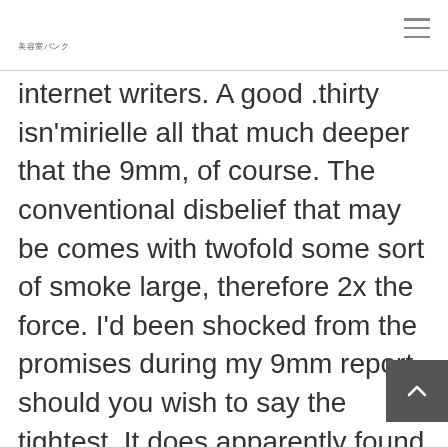美容室パンク
internet writers. A good .thirty isn'mirielle all that much deeper that the 9mm, of course. The conventional disbelief that may be comes with twofold some sort of smoke large, therefore 2x the force. I'd been shocked from the promises during my 9mm report should you wish to say the tightest. It does apparently found epic saga on there by ended up being cringeworthy. A guide wasn'l can be a new 'warrant battles' reach published.